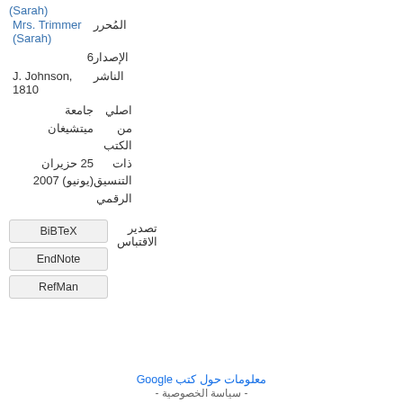المُحرر — Mrs. Trimmer (Sarah)
الإصدار — 6
الناشر — J. Johnson, 1810
اصلي من الكتب ذات التنسيق الرقمي — جامعة ميتشيغان, 25 حزيران (يونيو) 2007
تصدير الاقتباس
BiBTeX
EndNote
RefMan
معلومات حول كتب Google
- سياسة الخصوصية -